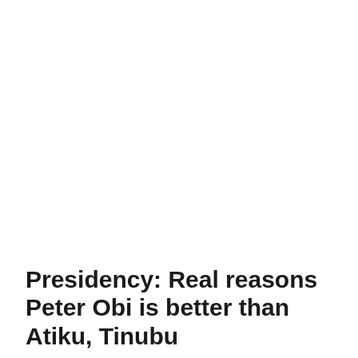Presidency: Real reasons Peter Obi is better than Atiku, Tinubu